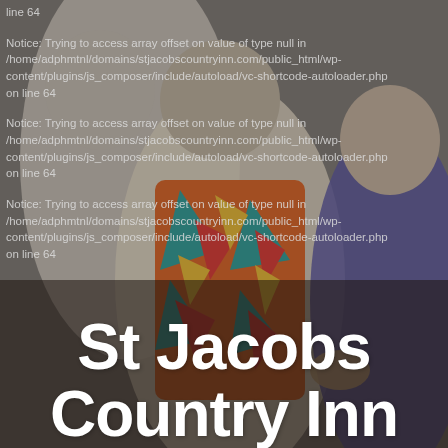[Figure (photo): Background photo of people at what appears to be a social gathering or event. A person in a colorful African-print dress/top is prominently featured in the center, with other people visible on the sides. The image is darkened/overlaid with error text.]
line 64

Notice: Trying to access array offset on value of type null in /home/adphmtnl/domains/stjacobscountryinn.com/public_html/wp-content/plugins/js_composer/include/autoload/vc-shortcode-autoloader.php on line 64

Notice: Trying to access array offset on value of type null in /home/adphmtnl/domains/stjacobscountryinn.com/public_html/wp-content/plugins/js_composer/include/autoload/vc-shortcode-autoloader.php on line 64

Notice: Trying to access array offset on value of type null in /home/adphmtnl/domains/stjacobscountryinn.com/public_html/wp-content/plugins/js_composer/include/autoload/vc-shortcode-autoloader.php on line 64
St Jacobs Country Inn